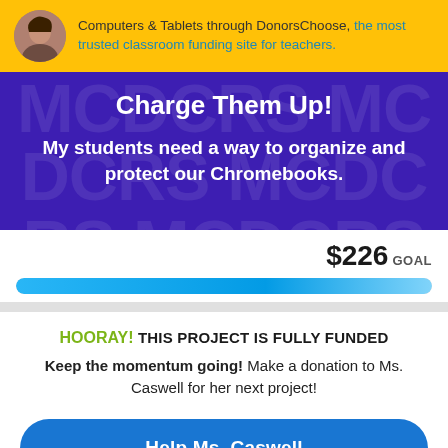Computers & Tablets through DonorsChoose, the most trusted classroom funding site for teachers.
Charge Them Up!
My students need a way to organize and protect our Chromebooks.
$226 GOAL
HOORAY! THIS PROJECT IS FULLY FUNDED
Keep the momentum going! Make a donation to Ms. Caswell for her next project!
Help Ms. Caswell